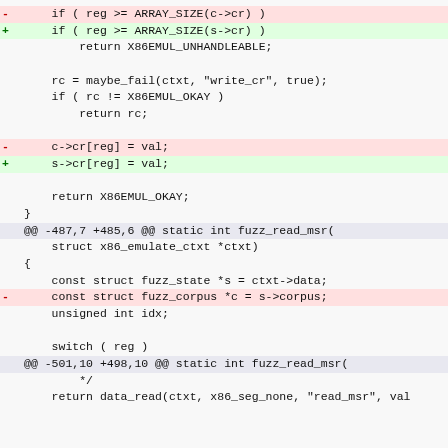diff/patch code block showing changes to fuzz emulator source
-     if ( reg >= ARRAY_SIZE(c->cr) )
+     if ( reg >= ARRAY_SIZE(s->cr) )
return X86EMUL_UNHANDLEABLE;
rc = maybe_fail(ctxt, "write_cr", true);
if ( rc != X86EMUL_OKAY )
return rc;
-     c->cr[reg] = val;
+     s->cr[reg] = val;
return X86EMUL_OKAY;
}
@@ -487,7 +485,6 @@ static int fuzz_read_msr(
struct x86_emulate_ctxt *ctxt)
{
const struct fuzz_state *s = ctxt->data;
-     const struct fuzz_corpus *c = s->corpus;
unsigned int idx;
switch ( reg )
@@ -501,10 +498,10 @@ static int fuzz_read_msr(
*/
return data_read(ctxt, x86_seg_none, "read_msr", val